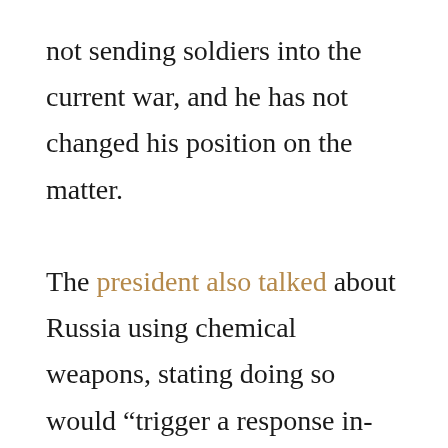not sending soldiers into the current war, and he has not changed his position on the matter.

The president also talked about Russia using chemical weapons, stating doing so would “trigger a response in-kind,” which alarmed many who assumed he meant there would be a chemical attack against Russia in response. However, National Security Advisor Jake Sullivan came out to clarify the president’s words once again, stating the US wasn’t going to use chemical weapons, but Russia would pay